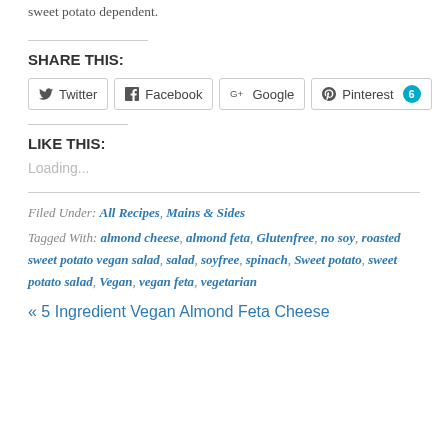sweet potato dependent.
SHARE THIS:
Twitter | Facebook | Google | Pinterest 6
LIKE THIS:
Loading...
Filed Under: All Recipes, Mains & Sides
Tagged With: almond cheese, almond feta, Glutenfree, no soy, roasted sweet potato vegan salad, salad, soyfree, spinach, Sweet potato, sweet potato salad, Vegan, vegan feta, vegetarian
« 5 Ingredient Vegan Almond Feta Cheese